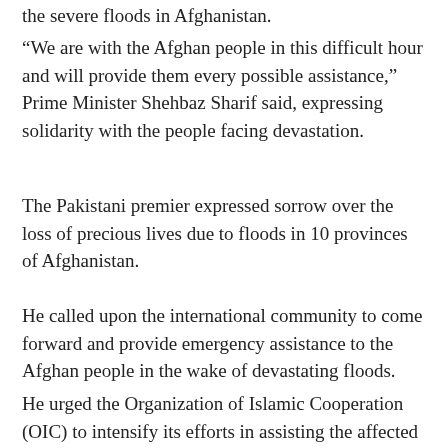the severe floods in Afghanistan.
“We are with the Afghan people in this difficult hour and will provide them every possible assistance,” Prime Minister Shehbaz Sharif said, expressing solidarity with the people facing devastation.
The Pakistani premier expressed sorrow over the loss of precious lives due to floods in 10 provinces of Afghanistan.
He called upon the international community to come forward and provide emergency assistance to the Afghan people in the wake of devastating floods.
He urged the Organization of Islamic Cooperation (OIC) to intensify its efforts in assisting the affected Afghan people through the Afghan Humanitarian